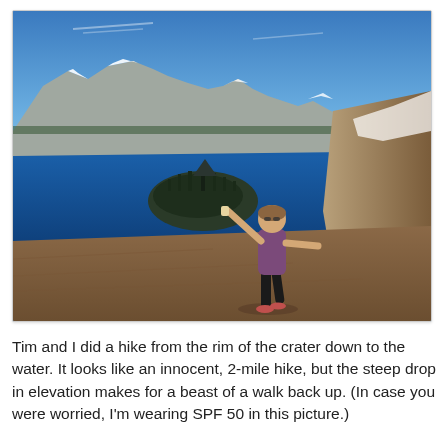[Figure (photo): A woman standing outdoors on a hillside above Crater Lake, Oregon, arms outstretched joyfully. She wears a purple tank top, black capri leggings, and pink running shoes. Behind her is Crater Lake's deep blue water with Wizard Island visible, surrounded by snow-capped crater rim cliffs under a bright blue sky with faint clouds.]
Tim and I did a hike from the rim of the crater down to the water. It looks like an innocent, 2-mile hike, but the steep drop in elevation makes for a beast of a walk back up. (In case you were worried, I'm wearing SPF 50 in this picture.)